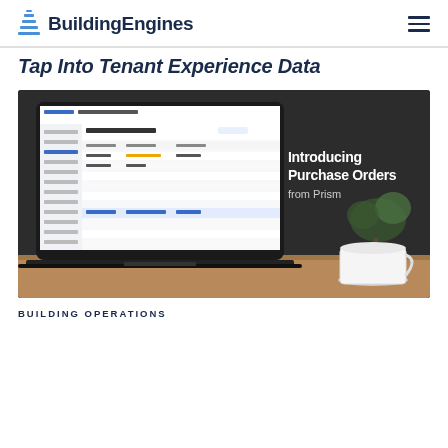BuildingEngines
Tap Into Tenant Experience Data
[Figure (screenshot): A laptop displaying the Prism software interface showing a Purchase Orders screen, placed on a wooden table next to a white coffee cup and saucer. The right side of the image shows text: Introducing Purchase Orders from Prism]
BUILDING OPERATIONS